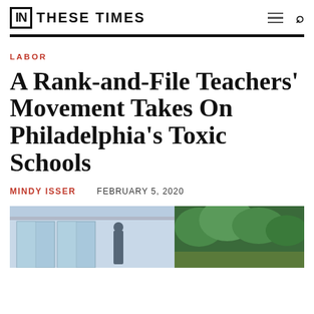IN THESE TIMES
LABOR
A Rank-and-File Teachers’ Movement Takes On Philadelphia’s Toxic Schools
MINDY ISSER   FEBRUARY 5, 2020
[Figure (photo): Photograph showing a school building entrance with glass doors on the left and trees on the right, with a person standing in the center.]